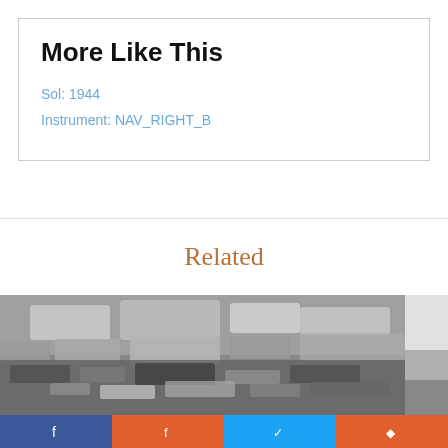More Like This
Sol: 1944
Instrument: NAV_RIGHT_B
Related
[Figure (photo): Black and white photograph of rocky Martian terrain taken by NASA Curiosity rover's NAV_RIGHT_B camera on Sol 1944]
[Figure (photo): Partial black and white photograph showing edge of another Mars rover image]